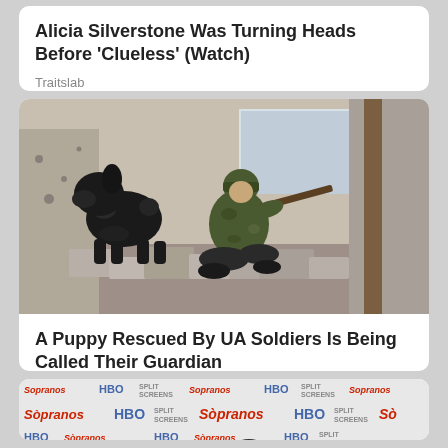Alicia Silverstone Was Turning Heads Before 'Clueless' (Watch)
Traitslab
[Figure (photo): A soldier in camouflage uniform sitting on rubble in a destroyed building, holding a rifle, with a large black fluffy dog beside them]
A Puppy Rescued By UA Soldiers Is Being Called Their Guardian
Herbeauty
[Figure (photo): Partial view of a red carpet or event backdrop featuring repeating logos for 'The Sopranos', 'HBO', and 'Split Screens' festival, with a person's head partially visible at the bottom]